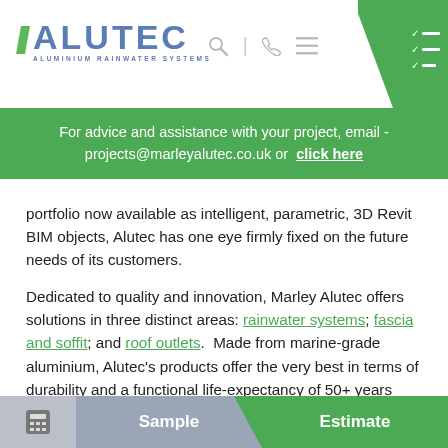ALUTEC ALUMINIUM RAINWATER SYSTEMS
For advice and assistance with your project, email - projects@marleyalutec.co.uk or click here
portfolio now available as intelligent, parametric, 3D Revit BIM objects, Alutec has one eye firmly fixed on the future needs of its customers.
Dedicated to quality and innovation, Marley Alutec offers solutions in three distinct areas: rainwater systems; fascia and soffit; and roof outlets. Made from marine-grade aluminium, Alutec's products offer the very best in terms of durability and a functional life-expectancy of 50+ years with minimal maintenance.
Alutec's total eaves solutions are available in a wide
Sample   Estimate